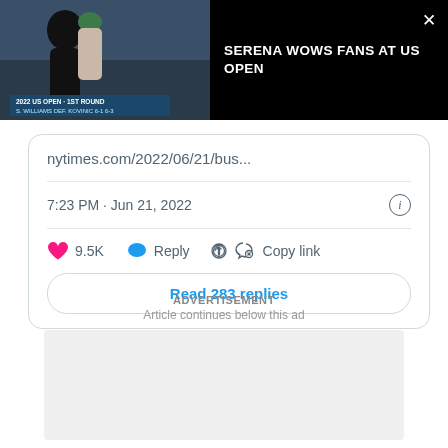[Figure (screenshot): Video thumbnail showing two tennis players at the US Open 2022 1st Round, S. Williams Def. Kovinic 6-1 6-3, with a dark overlay]
SERENA WOWS FANS AT US OPEN
nytimes.com/2022/06/21/bus...
7:23 PM · Jun 21, 2022
♥ 9.5K  Reply  Copy link
Read 283 replies
ADVERTISEMENT
Article continues below this ad